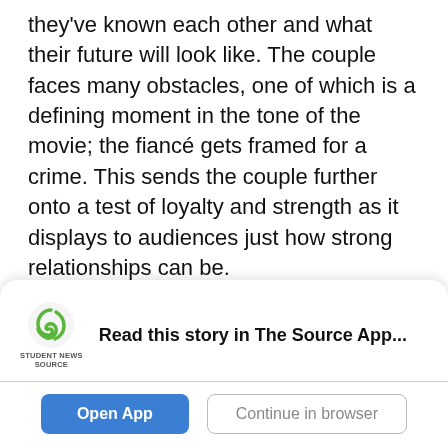they've known each other and what their future will look like. The couple faces many obstacles, one of which is a defining moment in the tone of the movie; the fiancé gets framed for a crime. This sends the couple further onto a test of loyalty and strength as it displays to audiences just how strong relationships can be.
Of course, any movie watched on or around Valentine's Day with loved ones is a cozy movie. Whether it's Gnomeo and Juliet or the Godfather, the spirit of the centuries-old holiday is to celebrate
[Figure (logo): Student News Source app logo — green swirl icon with 'STUDENT NEWS SOURCE' text below]
Read this story in The Source App...
Open App
Continue in browser